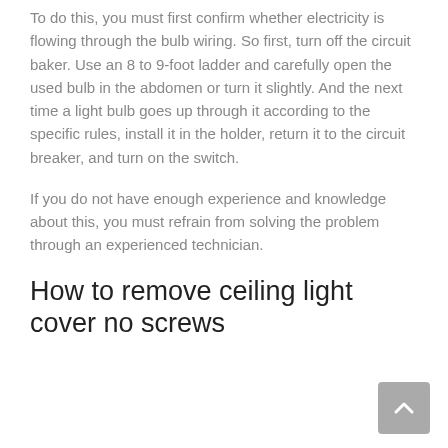To do this, you must first confirm whether electricity is flowing through the bulb wiring. So first, turn off the circuit baker. Use an 8 to 9-foot ladder and carefully open the used bulb in the abdomen or turn it slightly. And the next time a light bulb goes up through it according to the specific rules, install it in the holder, return it to the circuit breaker, and turn on the switch.
If you do not have enough experience and knowledge about this, you must refrain from solving the problem through an experienced technician.
How to remove ceiling light cover no screws